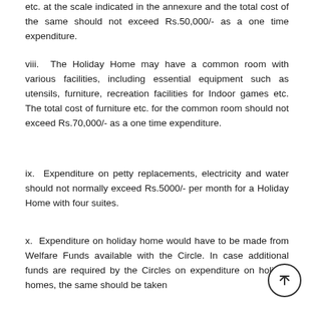etc. at the scale indicated in the annexure and the total cost of the same should not exceed Rs.50,000/- as a one time expenditure.
viii. The Holiday Home may have a common room with various facilities, including essential equipment such as utensils, furniture, recreation facilities for Indoor games etc. The total cost of furniture etc. for the common room should not exceed Rs.70,000/- as a one time expenditure.
ix. Expenditure on petty replacements, electricity and water should not normally exceed Rs.5000/- per month for a Holiday Home with four suites.
x. Expenditure on holiday home would have to be made from Welfare Funds available with the Circle. In case additional funds are required by the Circles on expenditure on holiday homes, the same should be taken